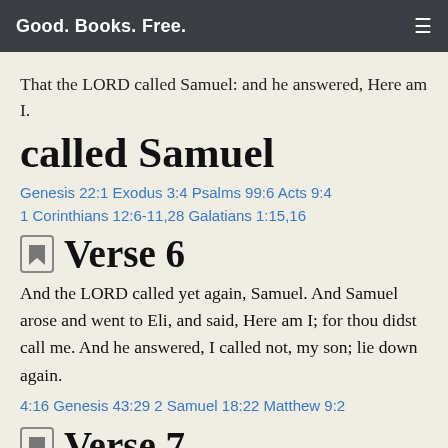Good. Books. Free.
That the LORD called Samuel: and he answered, Here am I.
called Samuel
Genesis 22:1 Exodus 3:4 Psalms 99:6 Acts 9:4 1 Corinthians 12:6-11,28 Galatians 1:15,16
Verse 6
And the LORD called yet again, Samuel. And Samuel arose and went to Eli, and said, Here am I; for thou didst call me. And he answered, I called not, my son; lie down again.
4:16 Genesis 43:29 2 Samuel 18:22 Matthew 9:2
Verse 7